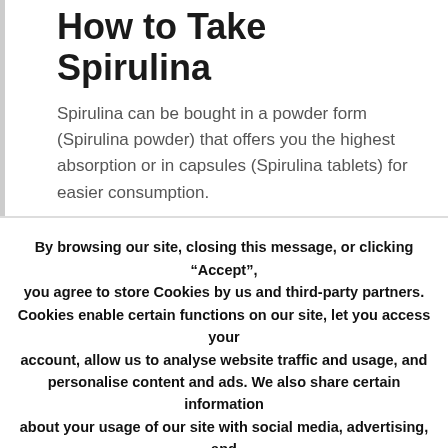How to Take Spirulina
Spirulina can be bought in a powder form (Spirulina powder) that offers you the highest absorption or in capsules (Spirulina tablets) for easier consumption.
By browsing our site, closing this message, or clicking “Accept”, you agree to store Cookies by us and third-party partners. Cookies enable certain functions on our site, let you access your account, allow us to analyse website traffic and usage, and personalise content and ads. We also share certain information about your usage of our site with social media, advertising, and analytics partners.
Accept   Read More